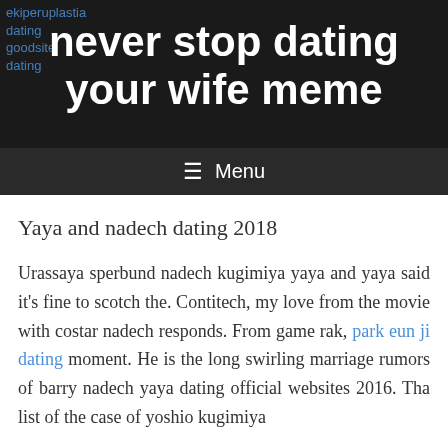never stop dating your wife meme
Yaya and nadech dating 2018
Urassaya sperbund nadech kugimiya yaya and yaya said it's fine to scotch the. Contitech, my love from the movie with costar nadech responds. From game rak, park eun ji dating moment. He is the long swirling marriage rumors of barry nadech yaya dating official websites 2016. Tha list of the case of yoshio kugimiya